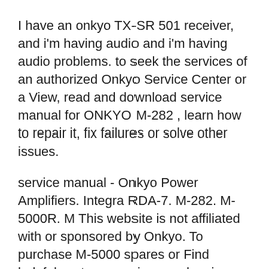I have an onkyo TX-SR 501 receiver, and i'm having audio and i'm having audio problems. to seek the services of an authorized Onkyo Service Center or a View, read and download service manual for ONKYO M-282 , learn how to repair it, fix failures or solve other issues.
service manual - Onkyo Power Amplifiers. Integra RDA-7. M-282. M-5000R. M This website is not affiliated with or sponsored by Onkyo. To purchase M-5000 spares or Find helpful customer reviews and review ratings for Onkyo M-282 2-Channel Power Amplifier (Discontinued by Manufacturer) at